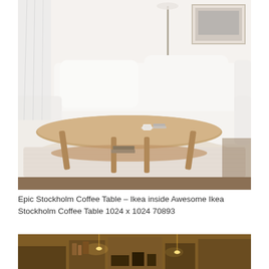[Figure (photo): A modern Scandinavian-style living room scene featuring a large oval wooden coffee table with a lower shelf, two white cushioned sofas, a white shag rug, a floor lamp, and a framed artwork on the wall. The coffee table is pale walnut/birch with slanted legs.]
Epic Stockholm Coffee Table – Ikea inside Awesome Ikea Stockholm Coffee Table 1024 x 1024 70893
[Figure (photo): A warmly lit interior scene showing wooden furniture and shelving in an amber/golden tone, partially visible at the bottom of the page.]